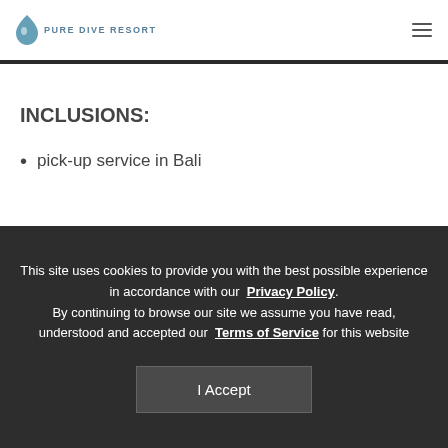PURE DIVE RESORT
INCLUSIONS:
pick-up service in Bali
This site uses cookies to provide you with the best possible experience in accordance with our Privacy Policy. By continuing to browse our site we assume you have read, understood and accepted our Terms of Service for this website
I Accept